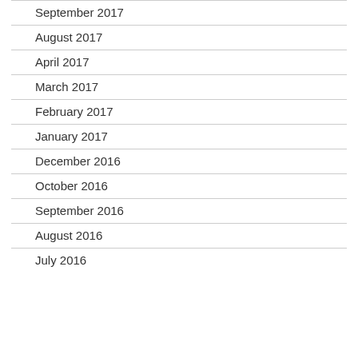September 2017
August 2017
April 2017
March 2017
February 2017
January 2017
December 2016
October 2016
September 2016
August 2016
July 2016